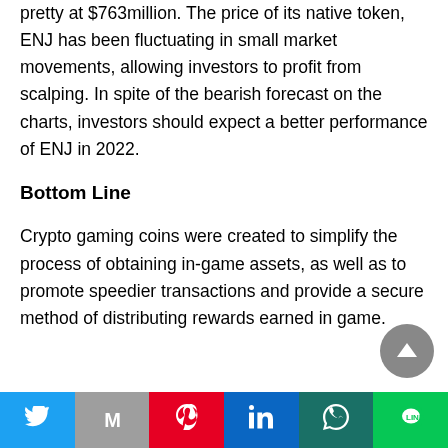pretty at $763million. The price of its native token, ENJ has been fluctuating in small market movements, allowing investors to profit from scalping. In spite of the bearish forecast on the charts, investors should expect a better performance of ENJ in 2022.
Bottom Line
Crypto gaming coins were created to simplify the process of obtaining in-game assets, as well as to promote speedier transactions and provide a secure method of distributing rewards earned in game.